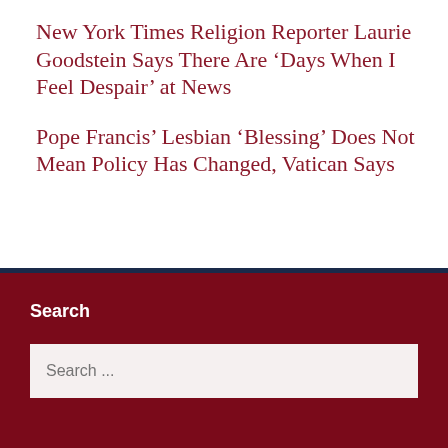New York Times Religion Reporter Laurie Goodstein Says There Are ‘Days When I Feel Despair’ at News
Pope Francis’ Lesbian ‘Blessing’ Does Not Mean Policy Has Changed, Vatican Says
Search
Search ...